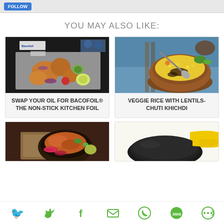YOU MAY ALSO LIKE:
[Figure (photo): Food photo: Roasted cauliflower and vegetables on foil in a baking tray with Bacofoil branding visible]
SWAP YOUR OIL FOR BACOFOIL® THE NON-STICK KITCHEN FOIL
[Figure (photo): Food photo: Veggie rice with lentils - Chuti Khichdi served in a brown clay bowl with a spoon]
VEGGIE RICE WITH LENTILS- CHUTI KHICHDI
[Figure (photo): Food photo: Roasted vegetable dish with onions in a dark bowl]
[Figure (photo): Product photo: Yellow and black pan or cookware]
[Figure (other): Social share bar with icons: Twitter, Facebook, Email, WhatsApp, SMS, More]